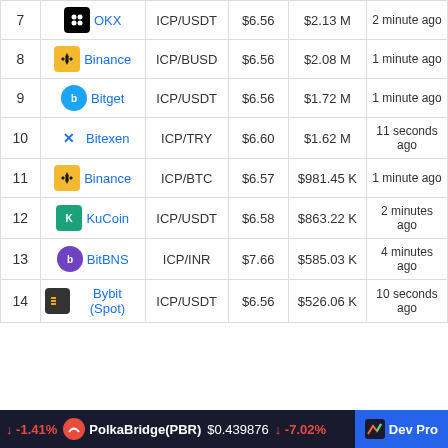| # | Exchange | Pair | Price | Volume | Updated |
| --- | --- | --- | --- | --- | --- |
| 7 | OKX | ICP/USDT | $6.56 | $2.13 M | 2 minute ago |
| 8 | Binance | ICP/BUSD | $6.56 | $2.08 M | 1 minute ago |
| 9 | Bitget | ICP/USDT | $6.56 | $1.72 M | 1 minute ago |
| 10 | Bitexen | ICP/TRY | $6.60 | $1.62 M | 11 seconds ago |
| 11 | Binance | ICP/BTC | $6.57 | $981.45 K | 1 minute ago |
| 12 | KuCoin | ICP/USDT | $6.58 | $863.22 K | 2 minutes ago |
| 13 | BitBNS | ICP/INR | $7.66 | $585.03 K | 4 minutes ago |
| 14 | Bybit (Spot) | ICP/USDT | $6.56 | $526.06 K | 10 seconds ago |
-1.41% PolkaBridge(PBR) $0.439876 -7.02% Dev Pro